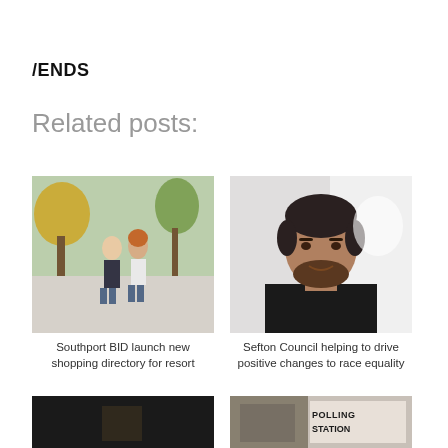/ENDS
Related posts:
[Figure (photo): Two people walking hand in hand on a shopping street lined with autumn trees]
Southport BID launch new shopping directory for resort
[Figure (photo): Headshot of a man with dark beard and hair in a black shirt against a light background]
Sefton Council helping to drive positive changes to race equality
[Figure (photo): Partial image, appears dark, possibly a night scene or object]
[Figure (photo): Partial image showing a Polling Station sign]